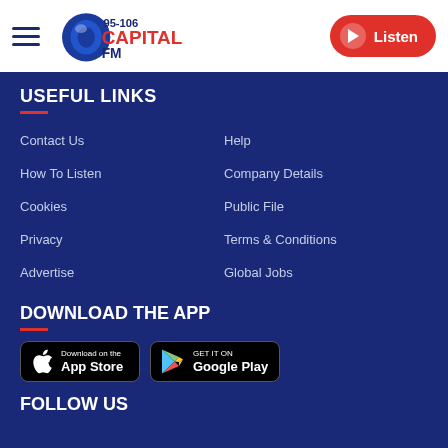[Figure (logo): Capital FM 95-106 radio station logo with hamburger menu and Listen button]
USEFUL LINKS
Contact Us
Help
How To Listen
Company Details
Cookies
Public File
Privacy
Terms & Conditions
Advertise
Global Jobs
DOWNLOAD THE APP
[Figure (other): Download on the App Store badge]
[Figure (other): GET IT ON Google Play badge]
FOLLOW US